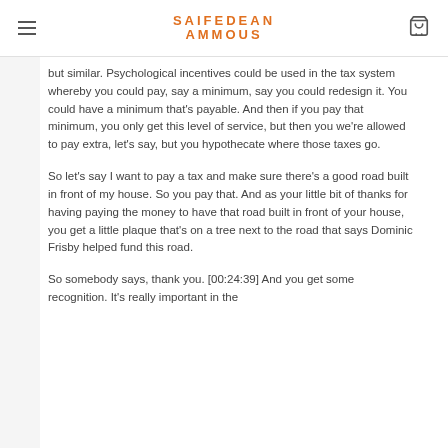SAIFEDEAN AMMOUS
but similar. Psychological incentives could be used in the tax system whereby you could pay, say a minimum, say you could redesign it. You could have a minimum that's payable. And then if you pay that minimum, you only get this level of service, but then you we're allowed to pay extra, let's say, but you hypothecate where those taxes go.
So let's say I want to pay a tax and make sure there's a good road built in front of my house. So you pay that. And as your little bit of thanks for having paying the money to have that road built in front of your house, you get a little plaque that's on a tree next to the road that says Dominic Frisby helped fund this road.
So somebody says, thank you. [00:24:39] And you get some recognition. It's really important in the